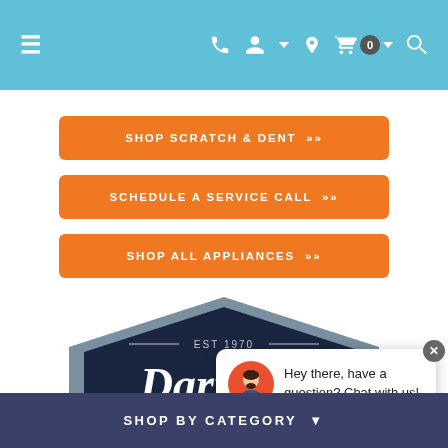≡  [phone] [account] [location] [cart 0] [search]
SHOP SCRATCH & DENT »»
SCHEDULE A SERVICE CALL »»
SHOP ALL APPLIANCES »»
[Figure (logo): Darrell's Appliance Service & Sales logo — dark navy hexagon shape with EST 1970 at top, script lettering for Darrell's, bold text for APPLIANCES, and SERVICE & SALES on banner below]
Hey there, have a question? Chat with us!
SHOP BY CATEGORY ▾